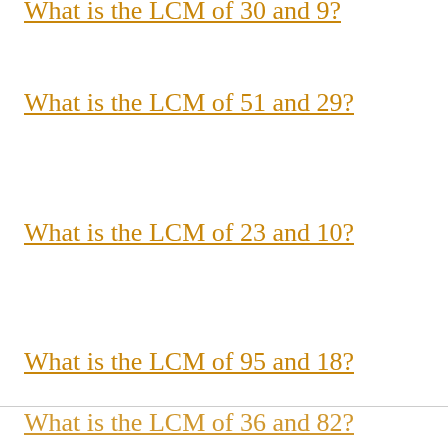What is the LCM of 51 and 29?
What is the LCM of 23 and 10?
What is the LCM of 95 and 18?
What is the LCM of 82 and 46?
What is the LCM of 33 and 49?
What is the LCM of 19 and 86?
What is the LCM of 68 and 9?
What is the LCM of 36 and 82?